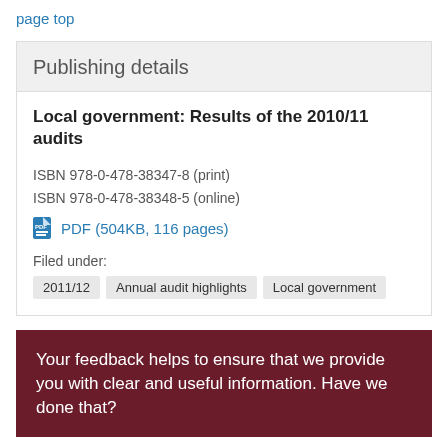page top
Publishing details
Local government: Results of the 2010/11 audits
ISBN 978-0-478-38347-8 (print)
ISBN 978-0-478-38348-5 (online)
PDF (504KB, 116 pages)
Filed under:
2011/12
Annual audit highlights
Local government
Your feedback helps to ensure that we provide you with clear and useful information. Have we done that?
Leave Feedback